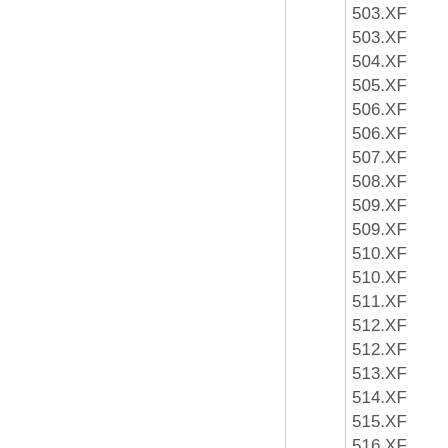503.XF
503.XF
504.XF
505.XF
506.XF
506.XF
507.XF
508.XF
509.XF
509.XF
510.XF
510.XF
511.XF
512.XF
512.XF
513.XF
514.XF
515.XF
516.XF